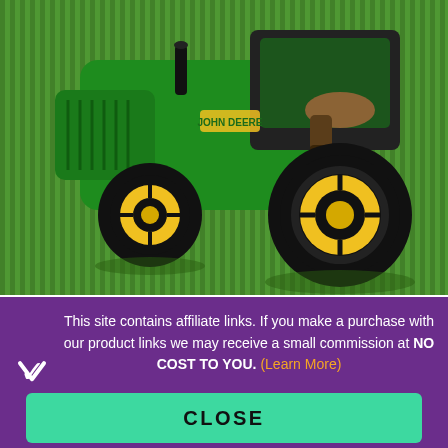[Figure (photo): A green and yellow John Deere ride-on toy tractor on grass, with a child visible in the seat. The tractor has large black tires with yellow rims.]
If you have a large yard or a farm then this is the toy to get.
This site contains affiliate links. If you make a purchase with our product links we may receive a small commission at NO COST TO YOU. (Learn More)
CLOSE